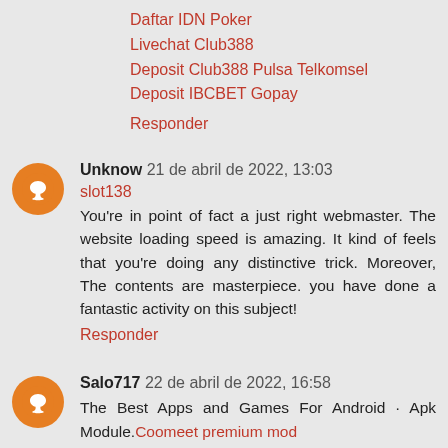Daftar IDN Poker
Livechat Club388
Deposit Club388 Pulsa Telkomsel
Deposit IBCBET Gopay
Responder
Unknow 21 de abril de 2022, 13:03
slot138
You're in point of fact a just right webmaster. The website loading speed is amazing. It kind of feels that you're doing any distinctive trick. Moreover, The contents are masterpiece. you have done a fantastic activity on this subject!
Responder
Salo717 22 de abril de 2022, 16:58
The Best Apps and Games For Android · Apk Module.Coomeet premium mod